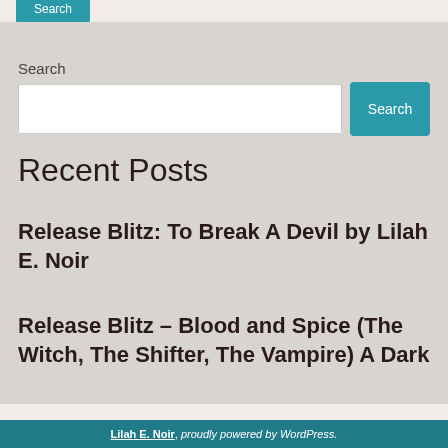Search
Search input and button
Recent Posts
Release Blitz: To Break A Devil by Lilah E. Noir
Release Blitz – Blood and Spice (The Witch, The Shifter, The Vampire) A Dark
Lilah E. Noir, proudly powered by WordPress.